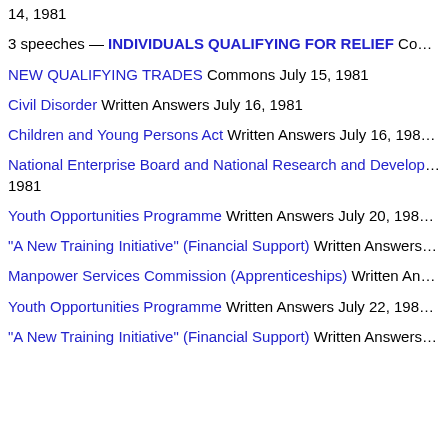14, 1981
3 speeches — INDIVIDUALS QUALIFYING FOR RELIEF Co...
NEW QUALIFYING TRADES Commons July 15, 1981
Civil Disorder Written Answers July 16, 1981
Children and Young Persons Act Written Answers July 16, 198...
National Enterprise Board and National Research and Develop... 1981
Youth Opportunities Programme Written Answers July 20, 198...
"A New Training Initiative" (Financial Support) Written Answers...
Manpower Services Commission (Apprenticeships) Written An...
Youth Opportunities Programme Written Answers July 22, 198...
"A New Training Initiative" (Financial Support) Written Answers...